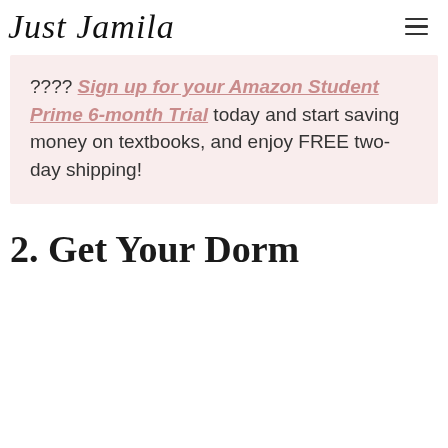Just Jamila
???? Sign up for your Amazon Student Prime 6-month Trial today and start saving money on textbooks, and enjoy FREE two-day shipping!
2. Get Your Dorm Essentials Ready